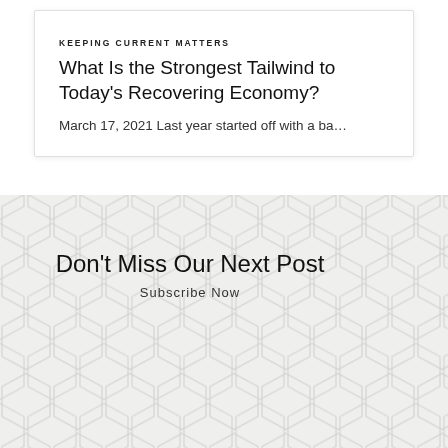KEEPING CURRENT MATTERS
What Is the Strongest Tailwind to Today's Recovering Economy?
March 17, 2021 Last year started off with a ba…
Don't Miss Our Next Post
Subscribe Now
Enter your email address
SHARE